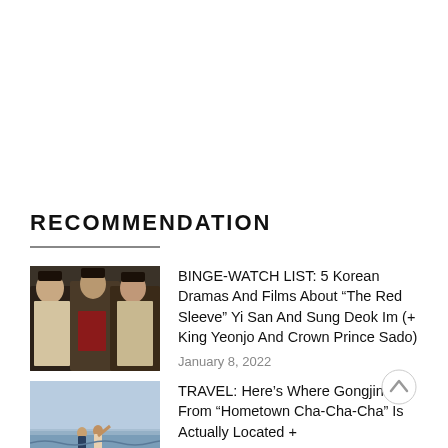RECOMMENDATION
BINGE-WATCH LIST: 5 Korean Dramas And Films About “The Red Sleeve” Yi San And Sung Deok Im (+ King Yeonjo And Crown Prince Sado) — January 8, 2022
TRAVEL: Here’s Where Gongjin From “Hometown Cha-Cha-Cha” Is Actually Located +